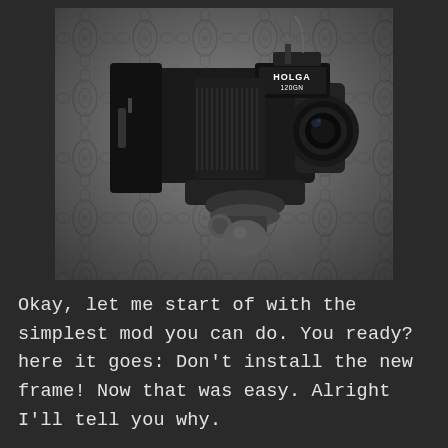[Figure (photo): Black and white photograph of a Holga 120GN film camera mounted on a tripod head, shown against a decorative damask wallpaper background.]
Okay, let me start of with the simplest mod you can do. You ready? here it goes: Don't install the new frame! Now that was easy. Alright I'll tell you why.